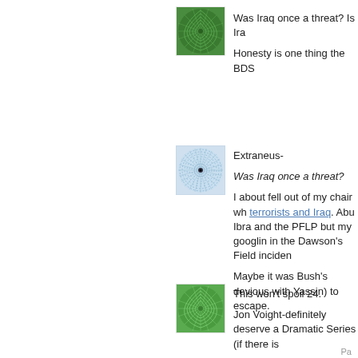[Figure (illustration): Green spiral/swirl avatar icon for first commenter]
Was Iraq once a threat? Is Ira
Honesty is one thing the BDS
[Figure (illustration): Light blue spiral/swirl avatar icon with dark center for second commenter (Extraneus)]
Extraneus-

Was Iraq once a threat?

I about fell out of my chair wh terrorists and Iraq. Abu Ibra and the PFLP but my googlin in the Dawson's Field inciden

Maybe it was Bush's devious with Yassin) to escape.
[Figure (illustration): Green spiral/swirl avatar icon for third commenter]
This won't spoil 24.

Jon Voight-definitely deserve a Dramatic Series (if there is
Pa